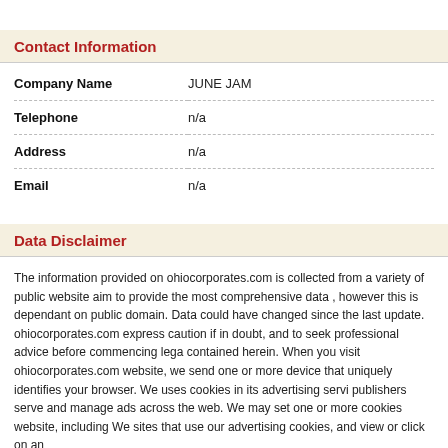Contact Information
| Field | Value |
| --- | --- |
| Company Name | JUNE JAM |
| Telephone | n/a |
| Address | n/a |
| Email | n/a |
Data Disclaimer
The information provided on ohiocorporates.com is collected from a variety of public website aim to provide the most comprehensive data , however this is dependant on public domain. Data could have changed since the last update. ohiocorporates.com express caution if in doubt, and to seek professional advice before commencing lega contained herein. When you visit ohiocorporates.com website, we send one or more device that uniquely identifies your browser. We uses cookies in its advertising servi publishers serve and manage ads across the web. We may set one or more cookies website, including We sites that use our advertising cookies, and view or click on an